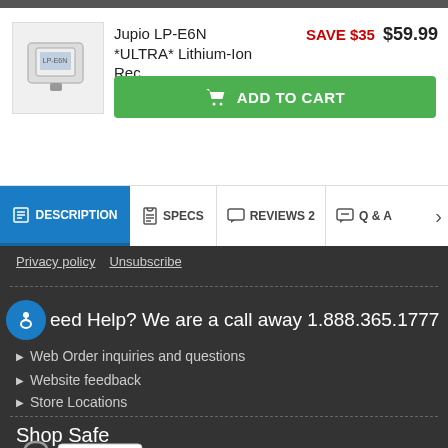Jupio LP-E6N *ULTRA* Lithium-Ion Rec...
SAVE $35  $59.99
ADD TO CART
DESCRIPTION  SPECS  REVIEWS 2  Q & A
Privacy policy   Unsubscribe
Need Help? We are a call away 1.888.365.1777
Web Order inquiries and questions
Website feedback
Store Locations
Shop Safe
[Figure (logo): Comodo Secured - Point to Verify badge with padlock]